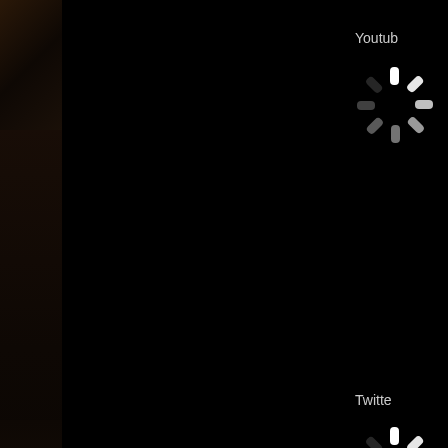[Figure (screenshot): Dark-themed webpage screenshot showing a black video embed area on the left/center with a left sidebar showing partial dark imagery. On the right side, partially visible: 'Youtube' label with a white loading spinner graphic below it, 'Twitter' label with another white loading spinner below it, and 'Tweet like ta...' text in white/gold. A gold gradient divider bar separates the video area from a dark blue news section below. The news section shows a headline in gold: '#UP Sistine Chapel closes as cardinals prepare to choos...' and body text in grey: 'Sistine Chapel closes to tourists: Vatican sends signal that ca...']